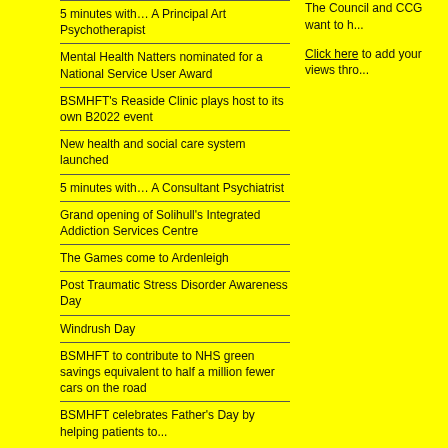5 minutes with… A Principal Art Psychotherapist
Mental Health Natters nominated for a National Service User Award
BSMHFT's Reaside Clinic plays host to its own B2022 event
New health and social care system launched
5 minutes with… A Consultant Psychiatrist
Grand opening of Solihull's Integrated Addiction Services Centre
The Games come to Ardenleigh
Post Traumatic Stress Disorder Awareness Day
Windrush Day
BSMHFT to contribute to NHS green savings equivalent to half a million fewer cars on the road
BSMHFT celebrates Father's Day by helping patients to...
The Council and CCG want to h...
Click here to add your views thro...